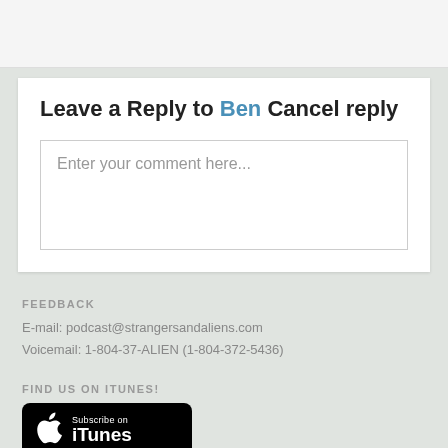Leave a Reply to Ben Cancel reply
Enter your comment here...
FEEDBACK
E-mail: podcast@strangersandaliens.com
Voicemail: 1-804-37-ALIEN (1-804-372-5436)
FIND US ON ITUNES!
[Figure (logo): Subscribe on iTunes badge with Apple logo]